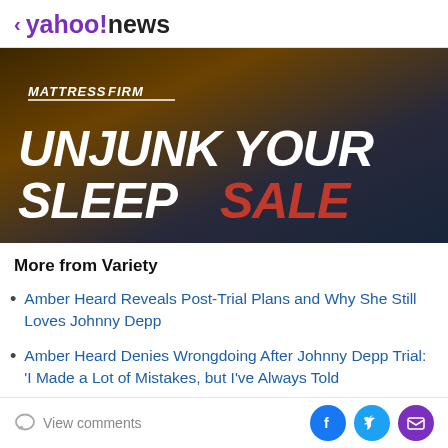< yahoo!news
[Figure (illustration): Mattress Firm advertisement banner with dark brown and dark blue gradient background. Shows 'MATTRESSFIRM' logo in white italic text with underline, then large white bold italic text 'UNJUNK YOUR' and 'SLEEP' in white with 'SALE' in red.]
More from Variety
Amber Heard Reveals Post-Trial Plans and Why She Still Loves Johnny Depp
Amber Heard Denies Wrongdoing After Johnny Depp Trial: 'I Made a Lot of Mistakes, but I've Always Told
View comments